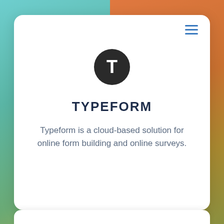[Figure (screenshot): Background with teal gradient on left and orange-brown gradient on right]
[Figure (logo): Typeform logo: dark circle with white T letter]
TYPEFORM
Typeform is a cloud-based solution for online form building and online surveys.
[Figure (infographic): Blue downward arrow connector between cards]
[Figure (screenshot): Bottom white card partially visible]